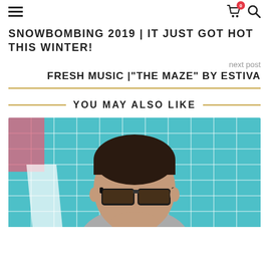Navigation bar with hamburger menu, cart icon (badge: 0), and search icon
SNOWBOMBING 2019 | IT JUST GOT HOT THIS WINTER!
next post
FRESH MUSIC |"THE MAZE" BY ESTIVA
YOU MAY ALSO LIKE
[Figure (photo): Portrait photo of a man with short dark hair and sunglasses against a teal/turquoise brick wall background with pink accent]